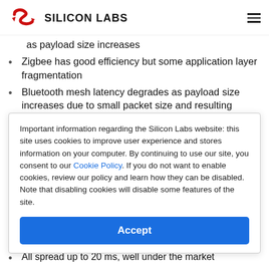SILICON LABS
as payload size increases
Zigbee has good efficiency but some application layer fragmentation
Bluetooth mesh latency degrades as payload size increases due to small packet size and resulting segmentation
Important information regarding the Silicon Labs website: this site uses cookies to improve user experience and stores information on your computer. By continuing to use our site, you consent to our Cookie Policy. If you do not want to enable cookies, review our policy and learn how they can be disabled. Note that disabling cookies will disable some features of the site.
Accept
All three peak below 50 milliseconds (ms)
All spread up to 20 ms, well under the market